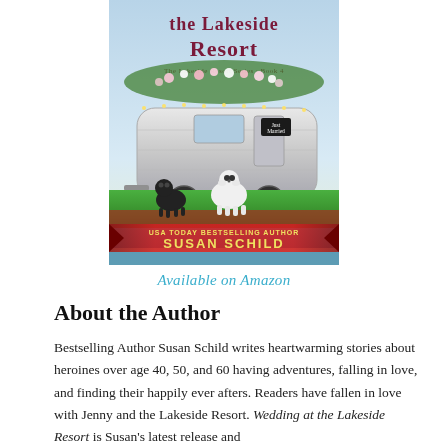[Figure (illustration): Book cover for 'The Lakeside Resort, The Lakeside Resort Series Book 4' by USA Today Bestselling Author Susan Schild. The cover shows a silver Airstream trailer decorated with flowers, a white dog, a black dog, and a 'Just Married' sign, set against a green lakeside backdrop.]
Available on Amazon
About the Author
Bestselling Author Susan Schild writes heartwarming stories about heroines over age 40, 50, and 60 having adventures, falling in love, and finding their happily ever afters. Readers have fallen in love with Jenny and the Lakeside Resort. Wedding at the Lakeside Resort is Susan's latest release and